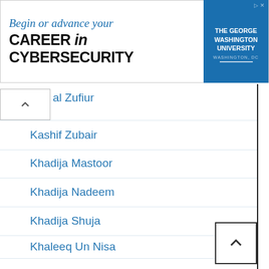[Figure (other): Advertisement banner for The George Washington University: 'Begin or advance your CAREER in CYBERSECURITY', Washington, DC]
al Zufiur (partial)
Kashif Zubair
Khadija Mastoor
Khadija Nadeem
Khadija Shuja
Khaleeq Un Nisa
Khan Asif
Khaqan Sajid
Khushwant Singh
Kinza Hayat
Kiran Rafique